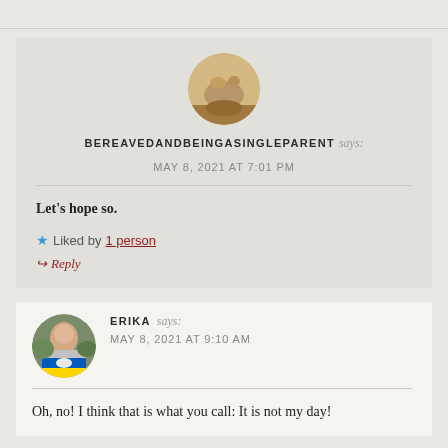BEREAVEDANDBEINGASINGLEPARENT says: MAY 8, 2021 AT 7:01 PM
Let's hope so.
★ Liked by 1 person
↪ Reply
ERIKA says: MAY 8, 2021 AT 9:10 AM
Oh, no! I think that is what you call: It is not my day!